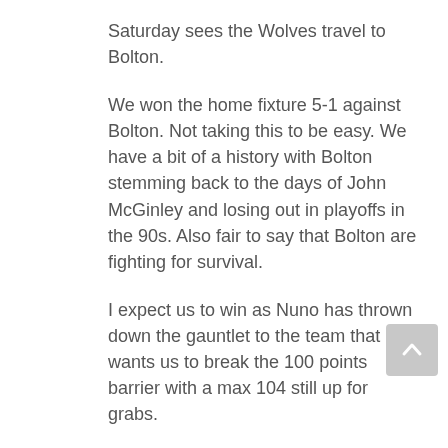Saturday sees the Wolves travel to Bolton.
We won the home fixture 5-1 against Bolton. Not taking this to be easy. We have a bit of a history with Bolton stemming back to the days of John McGinley and losing out in playoffs in the 90s. Also fair to say that Bolton are fighting for survival.
I expect us to win as Nuno has thrown down the gauntlet to the team that he wants us to break the 100 points barrier with a max 104 still up for grabs.
A win will give us the title and anyone thinking the players will be struggling to be motivated knowing we’re already promoted is having a laugh.